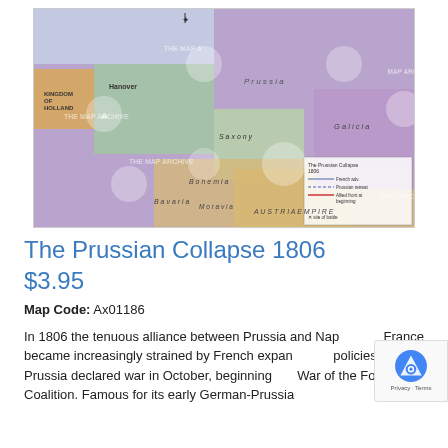[Figure (map): Historical map titled 'The Prussian Collapse 1806' showing Central Europe including Kingdom of Holland, Hanover, Prussia, Saxony, Bohemia, Moravia, Austria Empire, Galicia and Bavaria. Map overlaid with watermarks from 'The Map Archive'. A legend in the lower right shows map symbols.]
The Prussian Collapse 1806
$3.95
Map Code: Ax01186
In 1806 the tenuous alliance between Prussia and Napoleon's France became increasingly strained by French expansionist policies and Prussia declared war in October, beginning the War of the Fourth Coalition. Famous for its early German-Prussian...